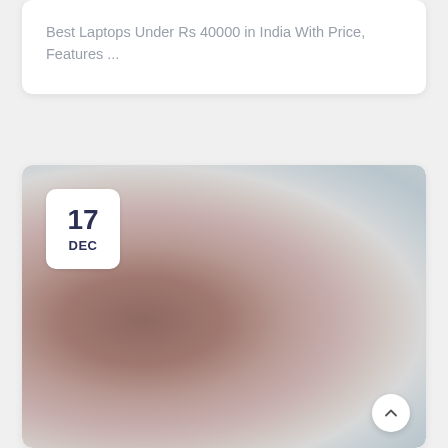Best Laptops Under Rs 40000 in India With Price, Features ...
[Figure (photo): Blurred laptop/tech image with a date badge showing 17 DEC in the upper left corner, and a scroll-to-top button in the lower right corner.]